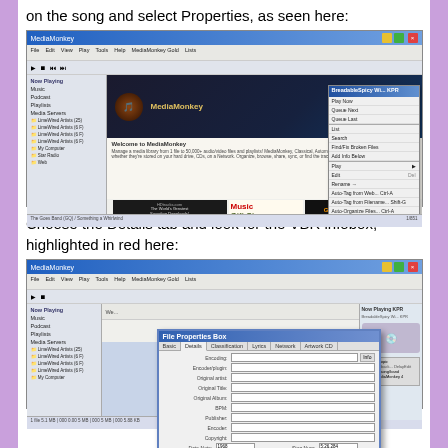on the song and select Properties, as seen here:
[Figure (screenshot): Screenshot of MediaMonkey application showing the main library window with a right-click context menu open displaying various options including Properties at the bottom]
Choose the Details tab and look for the VBR infobox, highlighted in red here:
[Figure (screenshot): Screenshot of MediaMonkey application showing the File Properties dialog box open with the Details tab selected, showing various fields including a VBR infobox highlighted in red]